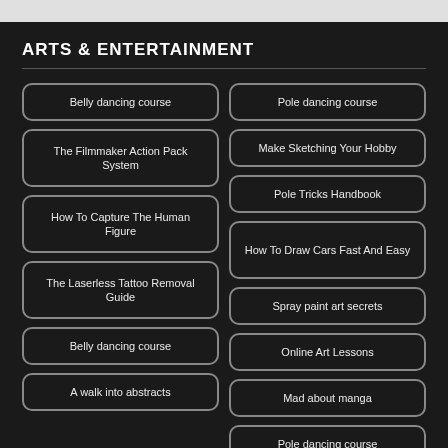ARTS & ENTERTAINMENT
Belly dancing course
Pole dancing course
The Filmmaker Action Pack System
Make Sketching Your Hobby
Pole Tricks Handbook
How To Capture The Human Figure
How To Draw Cars Fast And Easy
The Laserless Tattoo Removal Guide
Spray paint art secrets
Online Art Lessons
Belly dancing course
Mad about manga
A walk into abstracts
Pole dancing course